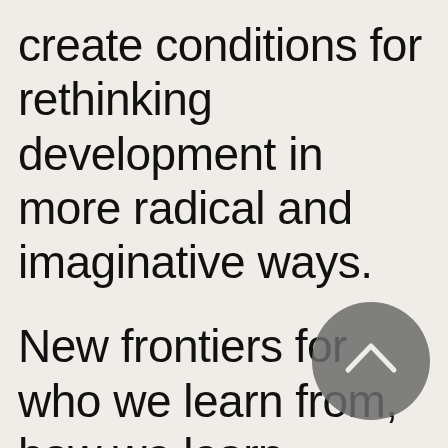create conditions for rethinking development in more radical and imaginative ways.

New frontiers for who we learn from, how we learn, where we learn, when we learn, what
[Figure (other): A dark grey circular button with a white upward-pointing chevron/caret arrow icon in the center]